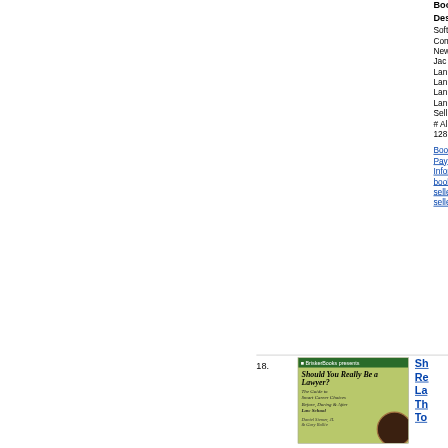Book
Description
Softcover
Condition
New
Jacket
Language
Language
Language
Language
Seller
# Al
128
Book link
Payment info
Information about book seller seller seller
18.
[Figure (photo): Book cover: Should You Really Be a Lawyer? - The Guide to Smart Career Choices Before, During & After Law School]
Should You Really Be a Lawyer? The Guide to Smart Career Choices Before, During & After Law School